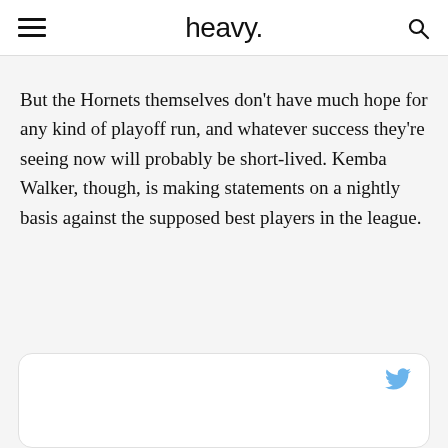heavy.
But the Hornets themselves don’t have much hope for any kind of playoff run, and whatever success they’re seeing now will probably be short-lived. Kemba Walker, though, is making statements on a nightly basis against the supposed best players in the league.
[Figure (screenshot): Embedded tweet card with Twitter bird icon visible in top-right corner]